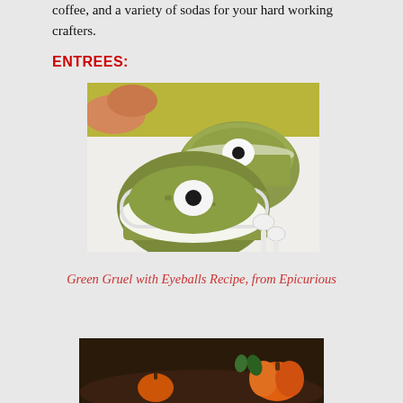coffee, and a variety of sodas for your hard working crafters.
ENTREES:
[Figure (photo): Two white bowls filled with green soup (gruel), each topped with a white mozzarella ball and a black olive to look like eyeballs. White spoons on a yellow-green tray beside the bowls. Bread in background.]
Green Gruel with Eyeballs Recipe, from Epicurious
[Figure (photo): Partial view of a Halloween-themed food scene with pumpkins and decorative items.]